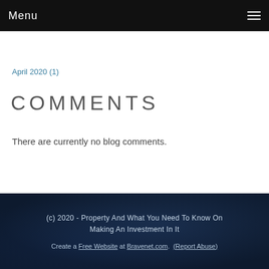Menu
April 2020 (1)
COMMENTS
There are currently no blog comments.
(c) 2020 - Property And What You Need To Know On Making An Investment In It
Create a Free Website at Bravenet.com. (Report Abuse)